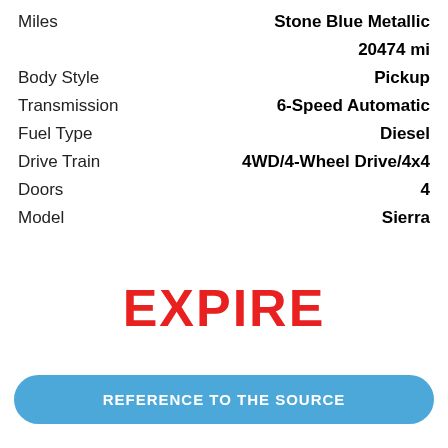| Label | Value |
| --- | --- |
| Miles | Stone Blue Metallic
20474 mi |
| Body Style | Pickup |
| Transmission | 6-Speed Automatic |
| Fuel Type | Diesel |
| Drive Train | 4WD/4-Wheel Drive/4x4 |
| Doors | 4 |
| Model | Sierra |
EXPIRE
REFERENCE TO THE SOURCE